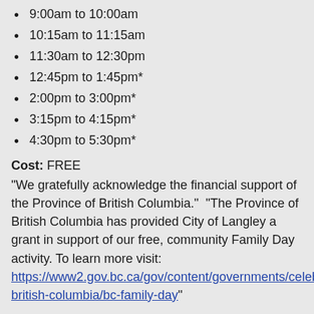9:00am to 10:00am
10:15am to 11:15am
11:30am to 12:30pm
12:45pm to 1:45pm*
2:00pm to 3:00pm*
3:15pm to 4:15pm*
4:30pm to 5:30pm*
Cost: FREE
"We gratefully acknowledge the financial support of the Province of British Columbia."  "The Province of British Columbia has provided City of Langley a grant in support of our free, community Family Day activity. To learn more visit: https://www2.gov.bc.ca/gov/content/governments/celebrating-british-columbia/bc-family-day"